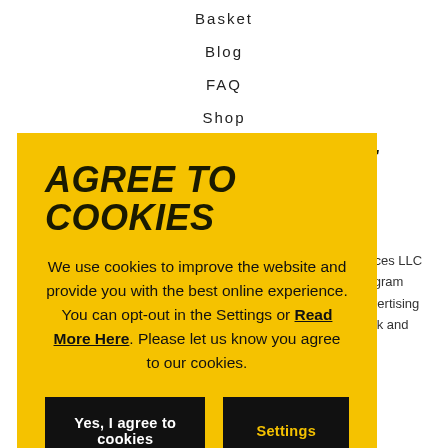Basket
Blog
FAQ
Shop
AGREE TO COOKIES
We use cookies to improve the website and provide you with the best online experience. You can opt-out in the Settings or Read More Here. Please let us know you agree to our cookies.
Yes, I agree to cookies
Settings
REVIVE A BEE